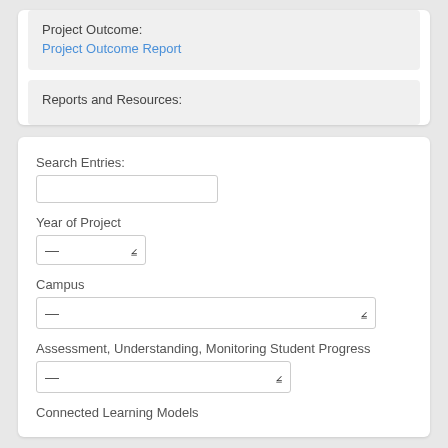Project Outcome:
Project Outcome Report
Reports and Resources:
Search Entries:
Year of Project
Campus
Assessment, Understanding, Monitoring Student Progress
Connected Learning Models